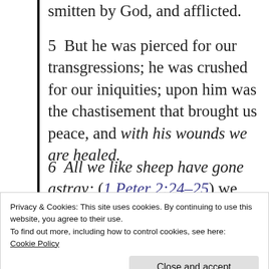smitten by God, and afflicted.
5  But he was pierced for our transgressions; he was crushed for our iniquities; upon him was the chastisement that brought us peace, and with his wounds we are healed.
6  All we like sheep have gone astray; (1 Peter 2:24-25) we have turned—every one—to his own way; and the
Privacy & Cookies: This site uses cookies. By continuing to use this website, you agree to their use.
To find out more, including how to control cookies, see here:
Cookie Policy
Close and accept
mouth: like a lamb that is led to the